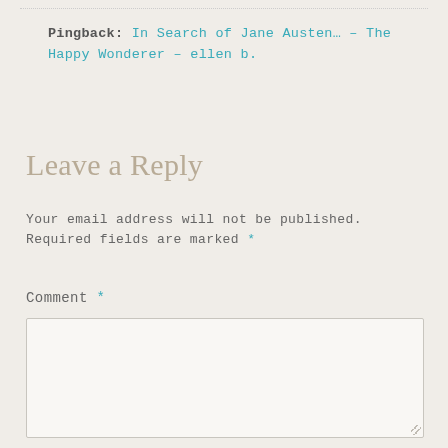Pingback: In Search of Jane Austen... – The Happy Wonderer – ellen b.
Leave a Reply
Your email address will not be published. Required fields are marked *
Comment *